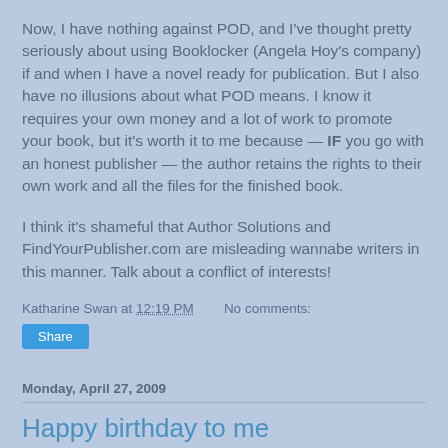Now, I have nothing against POD, and I've thought pretty seriously about using Booklocker (Angela Hoy's company) if and when I have a novel ready for publication. But I also have no illusions about what POD means. I know it requires your own money and a lot of work to promote your book, but it's worth it to me because — IF you go with an honest publisher — the author retains the rights to their own work and all the files for the finished book.
I think it's shameful that Author Solutions and FindYourPublisher.com are misleading wannabe writers in this manner. Talk about a conflict of interests!
Katharine Swan at 12:19 PM    No comments:
Share
Monday, April 27, 2009
Happy birthday to me